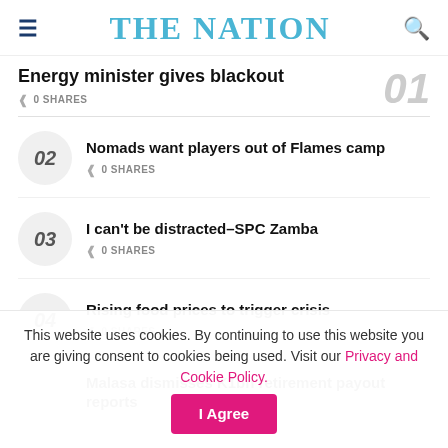THE NATION
Energy minister gives blackout
0 SHARES
02 Nomads want players out of Flames camp — 0 SHARES
03 I can't be distracted—SPC Zamba — 0 SHARES
04 Rising food prices to trigger crisis — 0 SHARES
Malasa dismisses K1bn retirement payout reports
This website uses cookies. By continuing to use this website you are giving consent to cookies being used. Visit our Privacy and Cookie Policy.